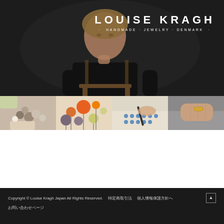[Figure (photo): Main banner image: portrait of a woman leaning on a wooden stool/chair against a dark background, with 'LOUISE KRAGH · HANDMADE·JEWELRY·DENMARK ·' logo overlaid in the upper right. Below the portrait is a strip of four images showing jewelry-making process: hands with beads, colorful round ball pins, hands working with small blue beads/buttons, and a hand wearing a ring.]
Copyright © Louise Kragh Japan All Rights Reserved.　特定商取引法　個人情報保護方針へ　ページの先頭へ　お問い合わせページ